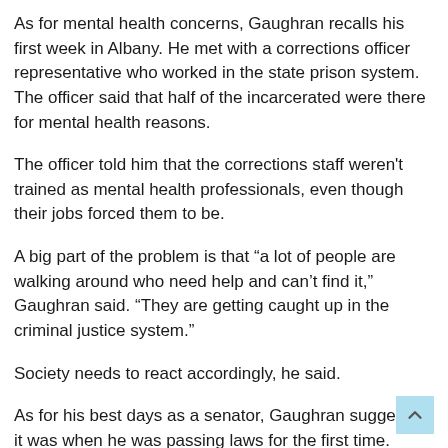As for mental health concerns, Gaughran recalls his first week in Albany. He met with a corrections officer representative who worked in the state prison system. The officer said that half of the incarcerated were there for mental health reasons.
The officer told him that the corrections staff weren't trained as mental health professionals, even though their jobs forced them to be.
A big part of the problem is that “a lot of people are walking around who need help and can’t find it,” Gaughran said. “They are getting caught up in the criminal justice system.”
Society needs to react accordingly, he said.
As for his best days as a senator, Gaughran suggested it was when he was passing laws for the first time.
“That was pretty cool,” he said.